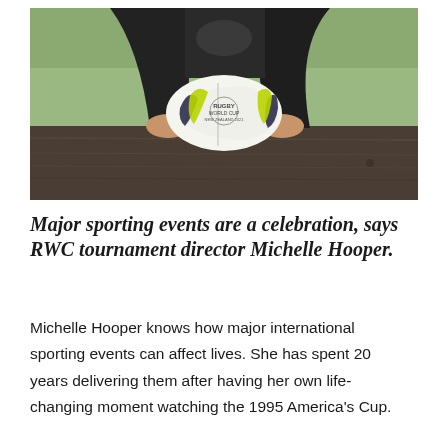[Figure (photo): A person in a black jacket holding a white rugby ball with the Rugby World Cup logo and text, resting it on a dark wooden table outdoors with green grass in the background.]
Major sporting events are a celebration, says RWC tournament director Michelle Hooper.
Michelle Hooper knows how major international sporting events can affect lives. She has spent 20 years delivering them after having her own life-changing moment watching the 1995 America's Cup.